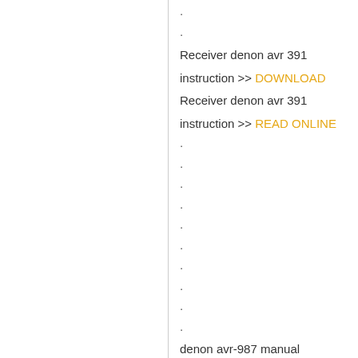·
·
Receiver denon avr 391 instruction >> DOWNLOAD
Receiver denon avr 391 instruction >> READ ONLINE
·
·
·
·
·
·
·
·
·
·
denon avr-987 manual
denon avr-791 manualdenon avr-1911 manual
denon avr-4306 manual
denon avr-789 manual
denon avr-391 audio return channel
denon avr-391 remote
denon avr-1712 manual
AV receiver....  [Read more]